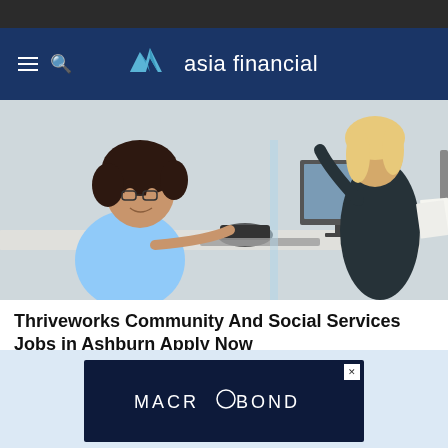asia financial
[Figure (photo): Two women in an office environment, one smiling wearing a light blue top and glasses, seated at a desk with a computer and phone, the other standing in background wearing dark clothing.]
Thriveworks Community And Social Services Jobs in Ashburn Apply Now
jobble.com
[Figure (logo): Outbrain logo with play icon and 'Outbrain' text]
[Figure (advertisement): Macrobond advertisement banner with dark navy background and white MACROBOND text with circle-O logo]